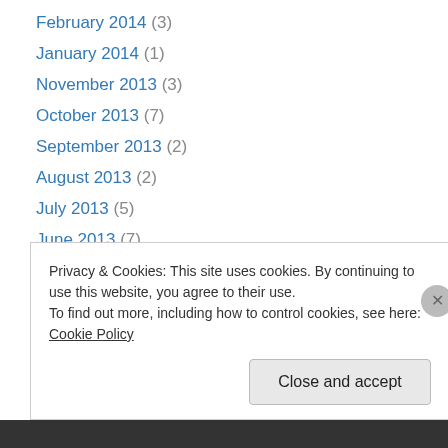February 2014 (3)
January 2014 (1)
November 2013 (3)
October 2013 (7)
September 2013 (2)
August 2013 (2)
July 2013 (5)
June 2013 (7)
May 2013 (1)
April 2013 (1)
February 2013 (2)
January 2013 (1)
December 2012 (2)
Privacy & Cookies: This site uses cookies. By continuing to use this website, you agree to their use. To find out more, including how to control cookies, see here: Cookie Policy